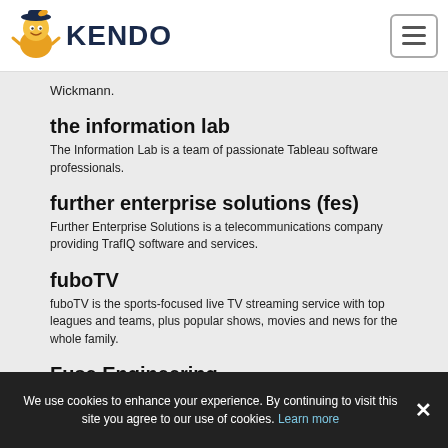KENDO
Wickmann.
the information lab
The Information Lab is a team of passionate Tableau software professionals.
further enterprise solutions (fes)
Further Enterprise Solutions is a telecommunications company providing TrafIQ software and services.
fuboTV
fuboTV is the sports-focused live TV streaming service with top leagues and teams, plus popular shows, movies and news for the whole family.
Fuse Engineering
Fuse Engineering is an IT company that provides IT
We use cookies to enhance your experience. By continuing to visit this site you agree to our use of cookies. Learn more